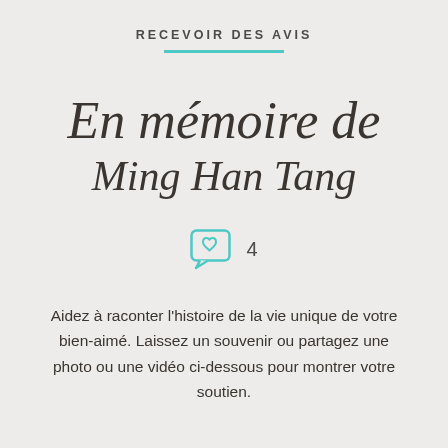RECEVOIR DES AVIS
En mémoire de Ming Han Tang
[Figure (other): Teal speech bubble icon with a heart inside, followed by the number 4]
Aidez à raconter l'histoire de la vie unique de votre bien-aimé. Laissez un souvenir ou partagez une photo ou une vidéo ci-dessous pour montrer votre soutien.